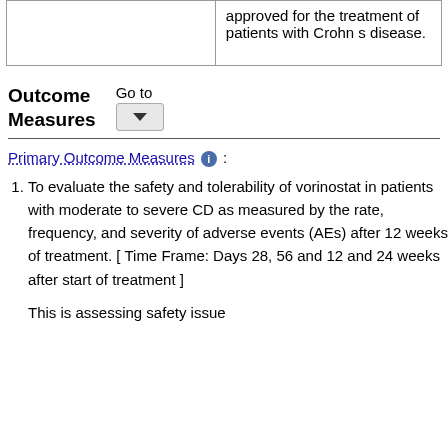|  |  |
| --- | --- |
|  | approved for the treatment of patients with Crohn s disease. |
Outcome Measures
Primary Outcome Measures :
To evaluate the safety and tolerability of vorinostat in patients with moderate to severe CD as measured by the rate, frequency, and severity of adverse events (AEs) after 12 weeks of treatment. [ Time Frame: Days 28, 56 and 12 and 24 weeks after start of treatment ]
This is assessing safety issue